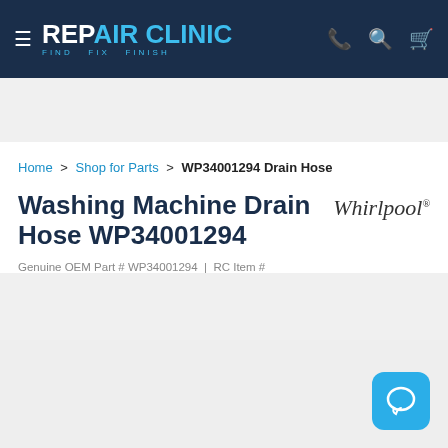REPAIR CLINIC — FIND. FIX. FINISH.
Shipping all 7 days! Hold times are long. Already ordered? Email customerservice@repairclinic.com. Learn more
Home > Shop for Parts > WP34001294 Drain Hose
Washing Machine Drain Hose WP34001294
Genuine OEM Part # WP34001294 | RC Item #